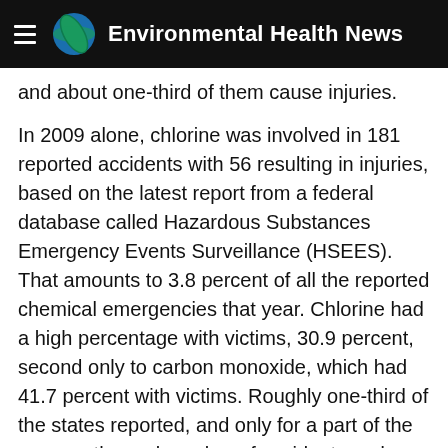Environmental Health News
and about one-third of them cause injuries.
In 2009 alone, chlorine was involved in 181 reported accidents with 56 resulting in injuries, based on the latest report from a federal database called Hazardous Substances Emergency Events Surveillance (HSEES). That amounts to 3.8 percent of all the reported chemical emergencies that year. Chlorine had a high percentage with victims, 30.9 percent, second only to carbon monoxide, which had 41.7 percent with victims. Roughly one-third of the states reported, and only for a part of the year, so the real number of accidents and injuries is much higher, experts say.